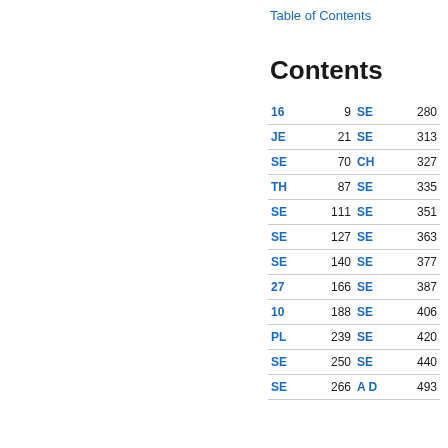Table of Contents
Contents
| Label | Page | Label | Page |
| --- | --- | --- | --- |
| 16 | 9 | SE | 280 |
| JE | 21 | SE | 313 |
| SE | 70 | CH | 327 |
| TH | 87 | SE | 335 |
| SE | 111 | SE | 351 |
| SE | 127 | SE | 363 |
| SE | 140 | SE | 377 |
| 27 | 166 | SE | 387 |
| 10 | 188 | SE | 406 |
| PL | 239 | SE | 420 |
| SE | 250 | SE | 440 |
| SE | 266 | A D | 493 |